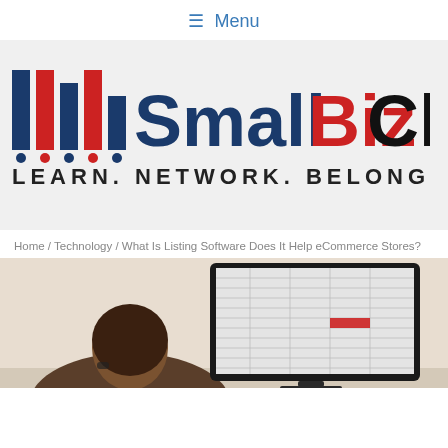≡ Menu
[Figure (logo): SmallBizClub logo with colored bar icons and tagline LEARN. NETWORK. BELONG.]
Home / Technology / What Is Listing Software Does It Help eCommerce Stores?
[Figure (photo): Person sitting at a computer desk viewed from behind, looking at a monitor displaying a spreadsheet with a red highlighted cell]